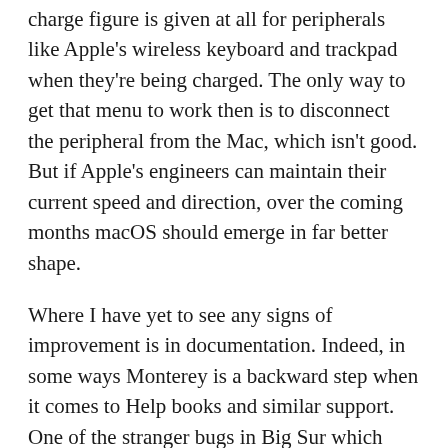charge figure is given at all for peripherals like Apple's wireless keyboard and trackpad when they're being charged. The only way to get that menu to work then is to disconnect the peripheral from the Mac, which isn't good. But if Apple's engineers can maintain their current speed and direction, over the coming months macOS should emerge in far better shape.
Where I have yet to see any signs of improvement is in documentation. Indeed, in some ways Monterey is a backward step when it comes to Help books and similar support. One of the stranger bugs in Big Sur which became only slowly evident was in traditional Help books, which for many third-party apps simply stopped opening at all.
Some of my own apps are affected by this infuriating bug. If you've never opened that app's Help book before, when you try to open it, it appears empty. The